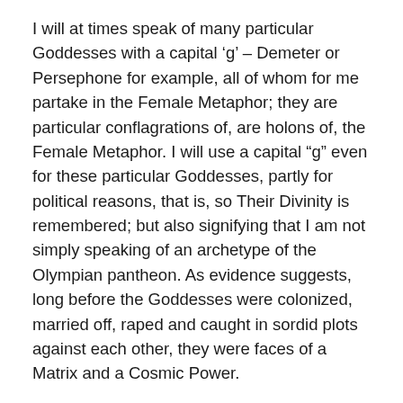I will at times speak of many particular Goddesses with a capital ‘g’ – Demeter or Persephone for example, all of whom for me partake in the Female Metaphor; they are particular conflagrations of, are holons of, the Female Metaphor. I will use a capital “g” even for these particular Goddesses, partly for political reasons, that is, so Their Divinity is remembered; but also signifying that I am not simply speaking of an archetype of the Olympian pantheon. As evidence suggests, long before the Goddesses were colonized, married off, raped and caught in sordid plots against each other, they were faces of a Matrix and a Cosmic Power.
“Archetype” is a word frequently used to name/describe the Female Metaphor, though it is much less often used to describe other Deities. I prefer not to speak of Her as “archetype”, as this tends to connote a “mindstruct”